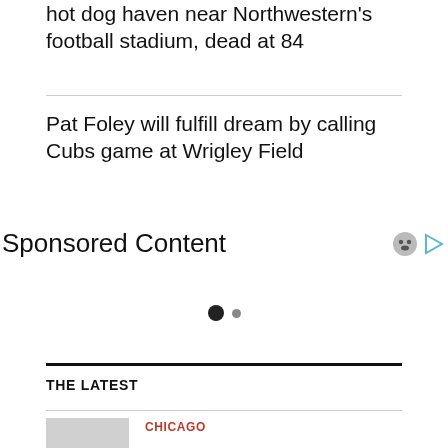hot dog haven near Northwestern's football stadium, dead at 84
Pat Foley will fulfill dream by calling Cubs game at Wrigley Field
Sponsored Content
[Figure (other): Carousel navigation dots: one large dark dot and one small grey dot]
THE LATEST
CHICAGO